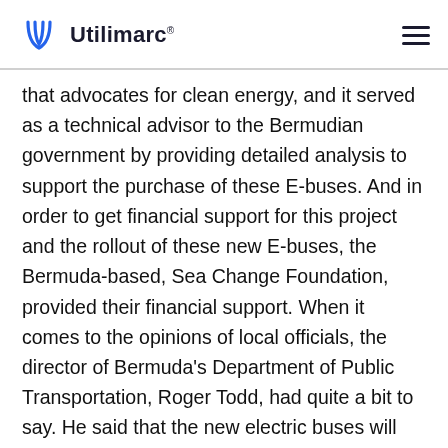Utilimarc
that advocates for clean energy, and it served as a technical advisor to the Bermudian government by providing detailed analysis to support the purchase of these E-buses. And in order to get financial support for this project and the rollout of these new E-buses, the Bermuda-based, Sea Change Foundation, provided their financial support. When it comes to the opinions of local officials, the director of Bermuda's Department of Public Transportation, Roger Todd, had quite a bit to say. He said that the new electric buses will not